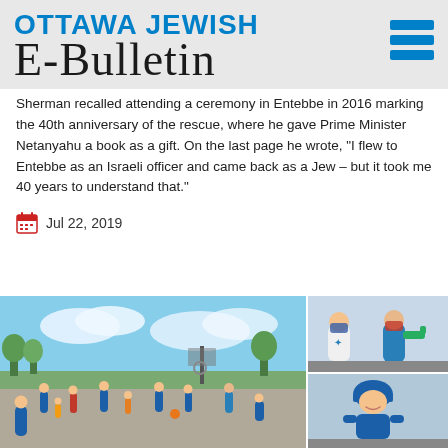OTTAWA JEWISH E-Bulletin
Sherman recalled attending a ceremony in Entebbe in 2016 marking the 40th anniversary of the rescue, where he gave Prime Minister Netanyahu a book as a gift. On the last page he wrote, “I flew to Entebbe as an Israeli officer and came back as a Jew – but it took me 40 years to understand that.”
Jul 22, 2019
[Figure (photo): Outdoor scene with children and adults in blue shirts playing in a park or schoolyard, plus two smaller photos showing children wearing masks and a child in a blue helmet.]